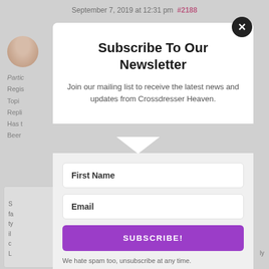September 7, 2019 at 12:31 pm  #2188
[Figure (screenshot): Background page content showing avatar photo, participant info labels (Partic, Regis, Topi, Repli, Has t, Beer), and a partially visible content box with text fragments (S, fa, ty, il, c, L)]
Subscribe To Our Newsletter
Join our mailing list to receive the latest news and updates from Crossdresser Heaven.
First Name
Email
SUBSCRIBE!
We hate spam too, unsubscribe at any time.